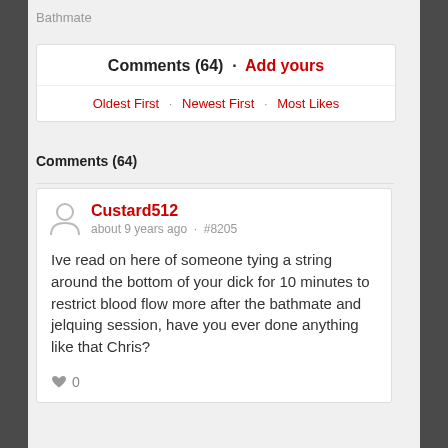Bathmate
Comments (64) · Add yours
Oldest First · Newest First · Most Likes
Comments (64)
Custard512 · about 9 years ago · #8205
Ive read on here of someone tying a string around the bottom of your dick for 10 minutes to restrict blood flow more after the bathmate and jelquing session, have you ever done anything like that Chris?
♥ 0